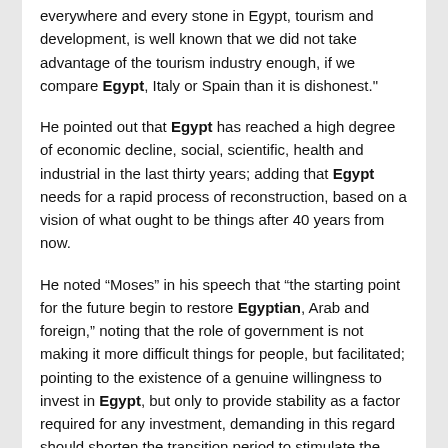everywhere and every stone in Egypt, tourism and development, is well known that we did not take advantage of the tourism industry enough, if we compare Egypt, Italy or Spain than it is dishonest."
He pointed out that Egypt has reached a high degree of economic decline, social, scientific, health and industrial in the last thirty years; adding that Egypt needs for a rapid process of reconstruction, based on a vision of what ought to be things after 40 years from now.
He noted “Moses” in his speech that “the starting point for the future begin to restore Egyptian, Arab and foreign,” noting that the role of government is not making it more difficult things for people, but facilitated; pointing to the existence of a genuine willingness to invest in Egypt, but only to provide stability as a factor required for any investment, demanding in this regard should shorten the transition period to stimulate the return of investment.
Moussa criticized the intervention of security in people’s lives, saying “the intervention of security in the lives of